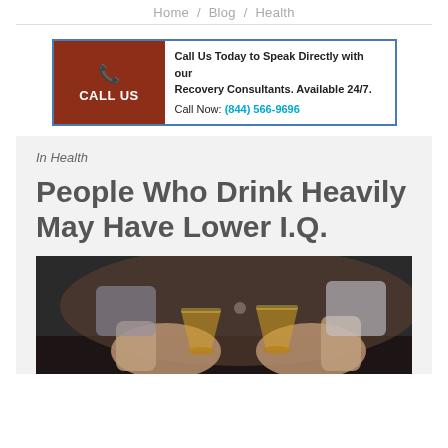Home / Blog / Health
[Figure (infographic): Call Us banner ad with red button, phone icon, text 'Call Us Today to Speak Directly with our Recovery Consultants. Available 24/7. Call Now: (844) 566-9696']
In Health
People Who Drink Heavily May Have Lower I.Q.
[Figure (photo): Photo of hands clinking glasses of whiskey/amber spirits]